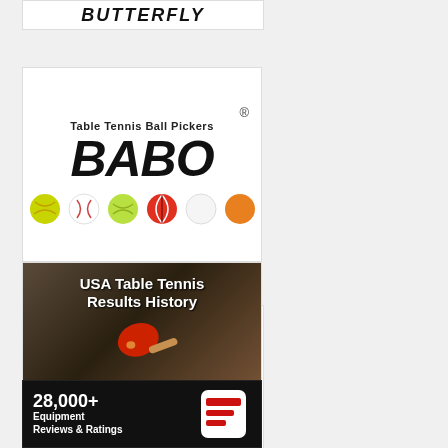[Figure (logo): BUTTERFLY logo strip in bold italic text]
[Figure (logo): BABO Table Tennis Ball Pickers logo with registered trademark, bold black italic BABO text, and colorful sports balls]
[Figure (logo): PONGMOBILE logo with black circle PM emblem and red M, bold text PONGMOBILE]
[Figure (photo): USA Table Tennis Results History advertisement - ping pong paddle on table with text: Every US Open & Nationals Result since 1933 - even the Rating Events!!!]
[Figure (infographic): 28,000+ Equipment Reviews & Ratings advertisement on black background with red stripe logo]